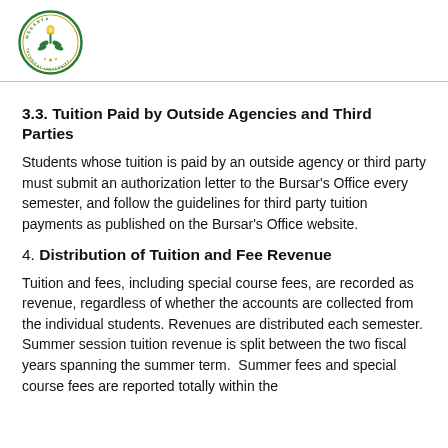[Figure (logo): Mesarya Technical University circular seal/logo in green and gold]
3.3. Tuition Paid by Outside Agencies and Third Parties
Students whose tuition is paid by an outside agency or third party must submit an authorization letter to the Bursar's Office every semester, and follow the guidelines for third party tuition payments as published on the Bursar's Office website.
4. Distribution of Tuition and Fee Revenue
Tuition and fees, including special course fees, are recorded as revenue, regardless of whether the accounts are collected from the individual students. Revenues are distributed each semester. Summer session tuition revenue is split between the two fiscal years spanning the summer term.  Summer fees and special course fees are reported totally within the